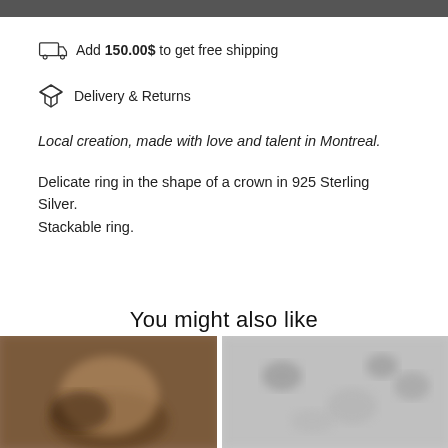Add 150.00$ to get free shipping
Delivery & Returns
Local creation, made with love and talent in Montreal.
Delicate ring in the shape of a crown in 925 Sterling Silver. Stackable ring.
You might also like
[Figure (photo): Blurred close-up photo of a hand/fingers wearing a ring, warm brown tones]
[Figure (photo): Blurred close-up photo of a silver/grey textured surface, possibly a ring or metal]